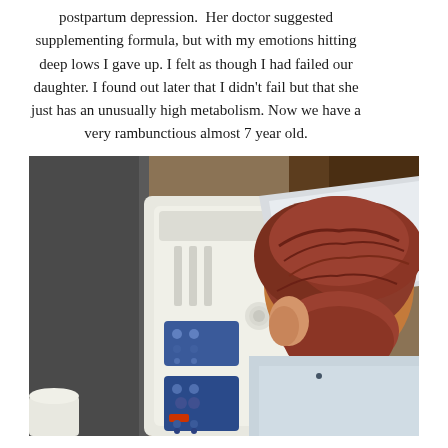postpartum depression. Her doctor suggested supplementing formula, but with my emotions hitting deep lows I gave up. I felt as though I had failed our daughter. I found out later that I didn't fail but that she just has an unusually high metabolism. Now we have a very rambunctious almost 7 year old.
[Figure (photo): A woman with reddish-brown hair, seen from behind, sitting in a hospital bed next to a white hospital bed control panel with blue and orange buttons.]